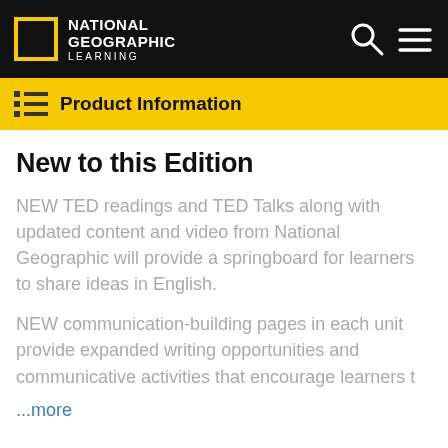National Geographic Learning
Product Information
New to this Edition
NEW TED readings and TED Talks along with updated content and video from National Geographic will provide a springboard for learners to share ideas in English.
NEW communication-building pages in each unit provide expanded writing opportunities and communicative activities that encourage learners t
...more